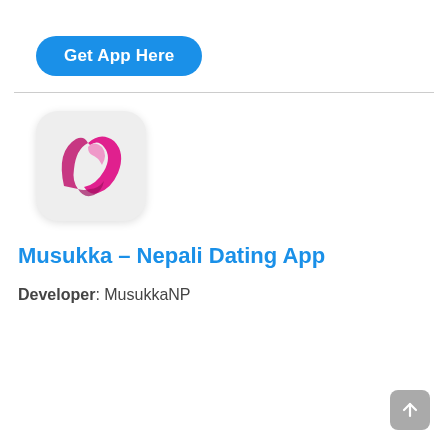Get App Here
[Figure (logo): Musukka app icon: light gray rounded square with a pink/magenta stylized letter M or bird shape logo]
Musukka – Nepali Dating App
Developer: MusukkaNP